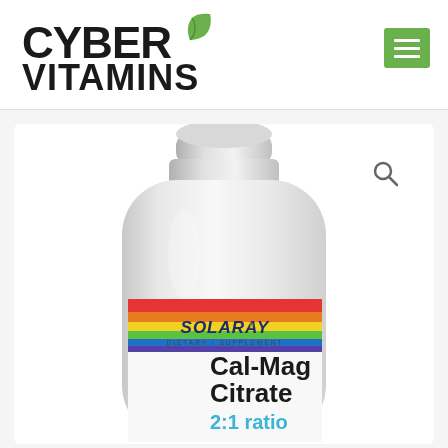[Figure (logo): CyberVitamins logo with green leaf icon, black bold text reading CYBER VITAMINS]
[Figure (other): Green square hamburger menu button with three white horizontal lines]
[Figure (photo): Solaray Cal-Mag Citrate 2:1 ratio dietary supplement bottle with rainbow stripe label, white plastic bottle, close-up product photo on white/light gray background with magnifier search icon in upper right]